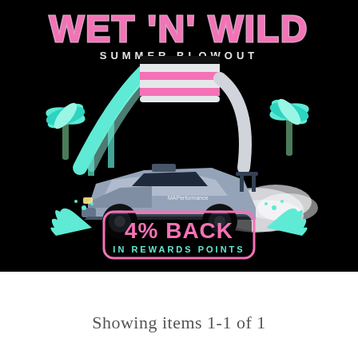[Figure (illustration): Wet 'N' Wild Summer Blowout promotional graphic on black background. Pink bubbly text reads 'WET N WILD' at top with 'SUMMER BLOWOUT' below in white. Teal palm trees flank colorful water slides (black/white/pink striped and teal). A silver/blue drift car with smoke is in the foreground. Below the car is a teal water splash badge with a pink rounded rectangle reading '4% BACK IN REWARDS POINTS' in pink and white text.]
Showing items 1-1 of 1